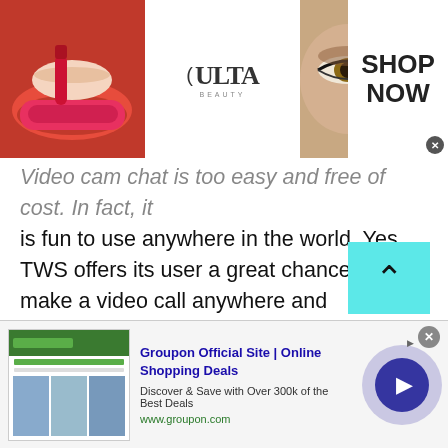[Figure (photo): Ulta Beauty advertisement banner showing makeup imagery (lips, brush, eyes), the Ulta Beauty logo, and 'SHOP NOW' text with a close button.]
Video cam chat is too easy and free of cost. In fact, it is fun to use anywhere in the world. Yes, TWS offers its user a great chance to make a video call anywhere and everywhere in the world. Remember, gay video chat or webcam chat is just one click away. Yes, you don't need to install any software to start a gay video chat. Well, not only gay users, TWS always welcome teen boys, girls, male and female strangers, lesbians or everyone on this free online chat.
[Figure (screenshot): Groupon advertisement showing thumbnail image, title 'Groupon Official Site | Online Shopping Deals', description 'Discover & Save with Over 300k of the Best Deals', URL www.groupon.com, and a play/arrow button. A close (x) button is visible.]